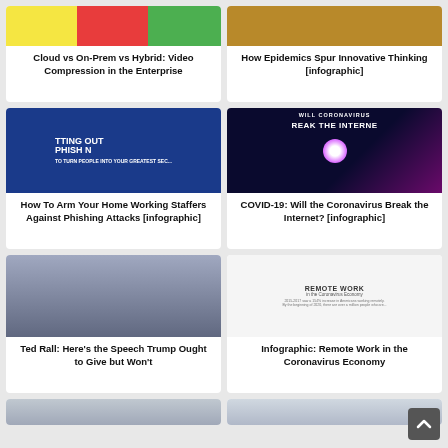[Figure (photo): Colorful graphic with yellow, red, and green blocks — Cloud vs On-Prem vs Hybrid article thumbnail]
Cloud vs On-Prem vs Hybrid: Video Compression in the Enterprise
[Figure (photo): Close-up photo of a person's face — How Epidemics Spur Innovative Thinking article thumbnail]
How Epidemics Spur Innovative Thinking [infographic]
[Figure (photo): Dark blue background with bold white text: GETTING OUT OF THE PHISHING NET — HOW TO TURN PEOPLE INTO YOUR GREATEST SECURITY]
How To Arm Your Home Working Staffers Against Phishing Attacks [infographic]
[Figure (photo): Dark space-like background with glowing orb and text: WILL CORONAVIRUS BREAK THE INTERNET]
COVID-19: Will the Coronavirus Break the Internet? [infographic]
[Figure (photo): Photo of Donald Trump speaking at podium with microphone]
Ted Rall: Here's the Speech Trump Ought to Give but Won't
[Figure (infographic): Infographic illustration about Remote Work in the Coronavirus Economy with icons and text]
Infographic: Remote Work in the Coronavirus Economy
[Figure (photo): Partial photo at bottom left — partially visible]
[Figure (photo): Partial photo at bottom right — partially visible]